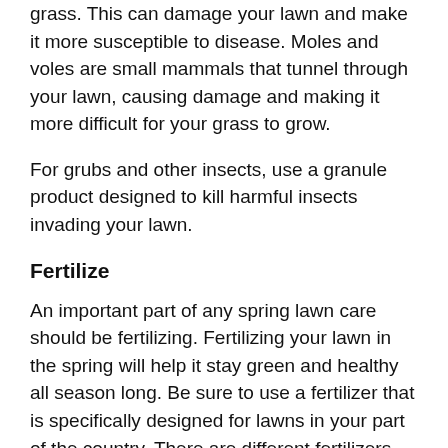grass. This can damage your lawn and make it more susceptible to disease. Moles and voles are small mammals that tunnel through your lawn, causing damage and making it more difficult for your grass to grow.
For grubs and other insects, use a granule product designed to kill harmful insects invading your lawn.
Fertilize
An important part of any spring lawn care should be fertilizing. Fertilizing your lawn in the spring will help it stay green and healthy all season long. Be sure to use a fertilizer that is specifically designed for lawns in your part of the country. There are different fertilizers for different types of grass and growing conditions. Apply the fertilizer according to the directions on the package.
Leveling